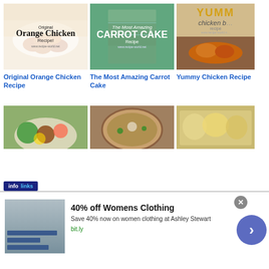[Figure (photo): Original Orange Chicken Recipe card with food photo]
Original Orange Chicken Recipe
[Figure (photo): The Most Amazing Carrot Cake recipe card with food photo]
The Most Amazing Carrot Cake
[Figure (photo): Yummy Chicken Recipe card with food photo]
Yummy Chicken Recipe
[Figure (photo): Bottom row food photos - salad, soup bowl, casserole dish]
[Figure (screenshot): Infolinks ad banner: 40% off Womens Clothing at Ashley Stewart, bit.ly]